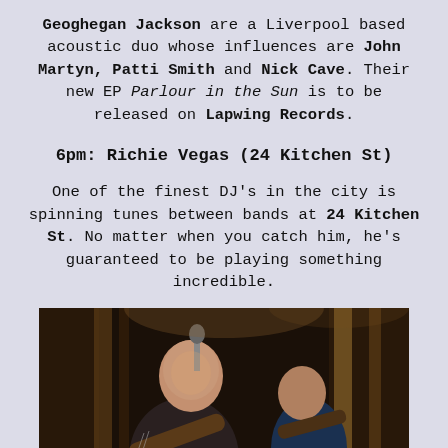Geoghegan Jackson are a Liverpool based acoustic duo whose influences are John Martyn, Patti Smith and Nick Cave. Their new EP Parlour in the Sun is to be released on Lapwing Records.
6pm: Richie Vegas (24 Kitchen St)
One of the finest DJ's in the city is spinning tunes between bands at 24 Kitchen St. No matter when you catch him, he's guaranteed to be playing something incredible.
[Figure (photo): Photo of two musicians performing live on stage. The foreground shows a bald man singing into a microphone and playing guitar, wearing a dark t-shirt. Behind him is another musician playing guitar. The background shows wooden poles/pillars and stage lighting.]